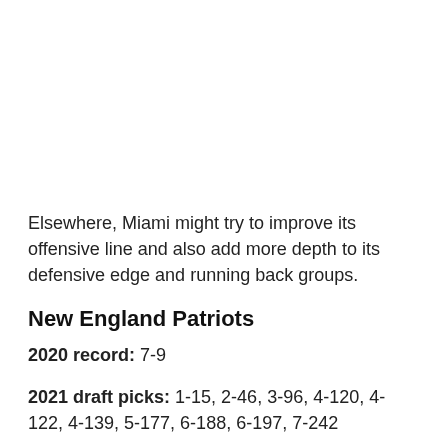Elsewhere, Miami might try to improve its offensive line and also add more depth to its defensive edge and running back groups.
New England Patriots
2020 record: 7-9
2021 draft picks: 1-15, 2-46, 3-96, 4-120, 4-122, 4-139, 5-177, 6-188, 6-197, 7-242